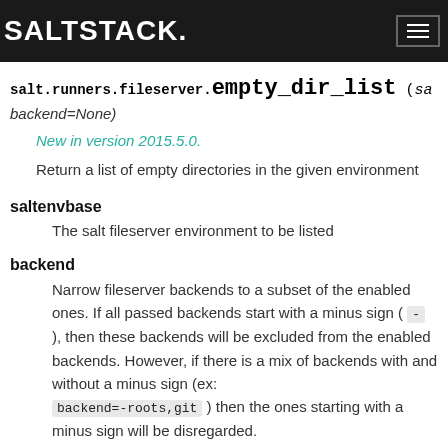SALTSTACK
salt.runners.fileserver. empty_dir_list (sa backend=None)
New in version 2015.5.0.
Return a list of empty directories in the given environment
saltenvbase
The salt fileserver environment to be listed
backend
Narrow fileserver backends to a subset of the enabled ones. If all passed backends start with a minus sign ( - ), then these backends will be excluded from the enabled backends. However, if there is a mix of backends with and without a minus sign (ex: backend=-roots,git ) then the ones starting with a minus sign will be disregarded.